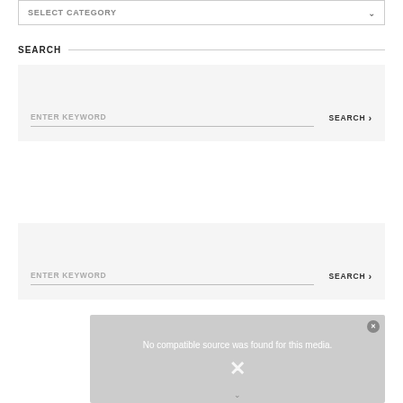SELECT CATEGORY
SEARCH
ENTER KEYWORD  SEARCH >
ENTER KEYWORD  SEARCH >
[Figure (screenshot): Media player error box with text: No compatible source was found for this media. Shows an X mark and a down arrow at the bottom.]